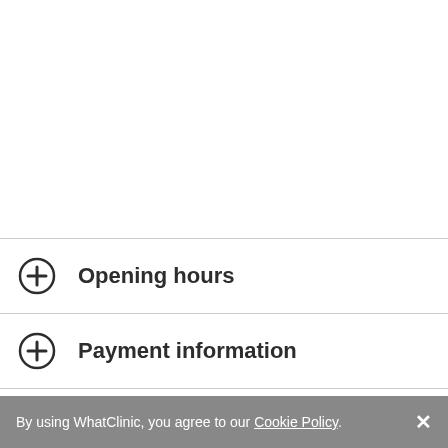Opening hours
Payment information
Insurance
By using WhatClinic, you agree to our Cookie Policy.